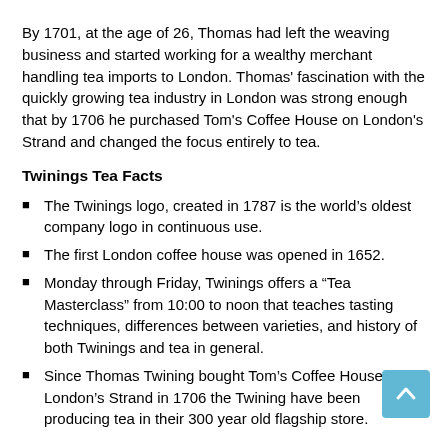By 1701, at the age of 26, Thomas had left the weaving business and started working for a wealthy merchant handling tea imports to London. Thomas' fascination with the quickly growing tea industry in London was strong enough that by 1706 he purchased Tom's Coffee House on London's Strand and changed the focus entirely to tea.
Twinings Tea Facts
The Twinings logo, created in 1787 is the world's oldest company logo in continuous use.
The first London coffee house was opened in 1652.
Monday through Friday, Twinings offers a “Tea Masterclass” from 10:00 to noon that teaches tasting techniques, differences between varieties, and history of both Twinings and tea in general.
Since Thomas Twining bought Tom’s Coffee House on London’s Strand in 1706 the Twining have been producing tea in their 300 year old flagship store.